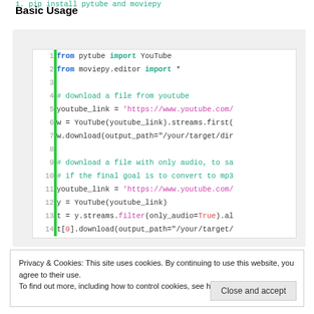1. pip install pytube and moviepy
Basic Usage
[Figure (screenshot): Python code block showing how to use pytube and moviepy to download YouTube videos, with line numbers 1-14 and a green gutter bar.]
Privacy & Cookies: This site uses cookies. By continuing to use this website, you agree to their use.
To find out more, including how to control cookies, see here: Cookie Policy
Close and accept